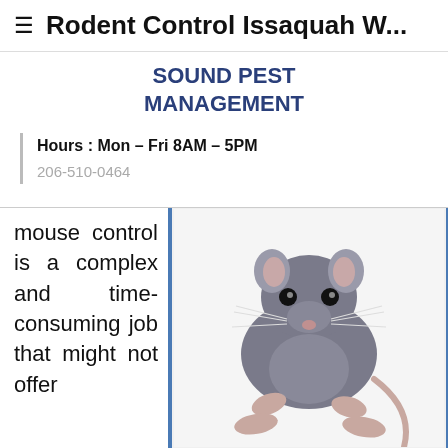≡  Rodent Control Issaquah W...
SOUND PEST MANAGEMENT
Hours : Mon – Fri 8AM – 5PM
206-510-0464
mouse control is a complex and time-consuming job that might not offer
[Figure (photo): Close-up photo of a gray rat/mouse on a white background, facing forward with whiskers and pink paws visible.]